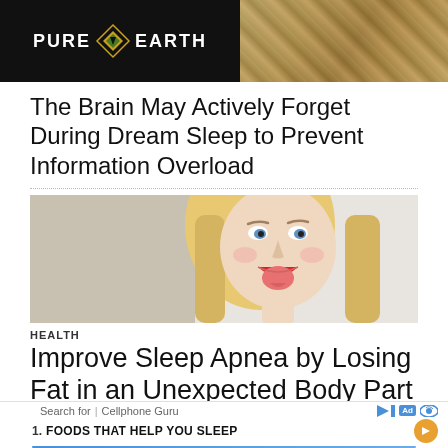[Figure (photo): Pure Earth advertisement banner with black background on left showing 'PURE EARTH' logo with diamond icon, and a photo of hands working with sawdust/wood shavings on the right]
The Brain May Actively Forget During Dream Sleep to Prevent Information Overload
[Figure (photo): Photo of a blonde woman sticking out her tongue against a light background]
HEALTH
Improve Sleep Apnea by Losing Fat in an Unexpected Body Part — The
[Figure (infographic): Bottom advertisement bar: 'Search for | Cellphone Guru' with play, Ad, and eye icons, then '1. FOODS THAT HELP YOU SLEEP' with orange arrow button and blue underline]